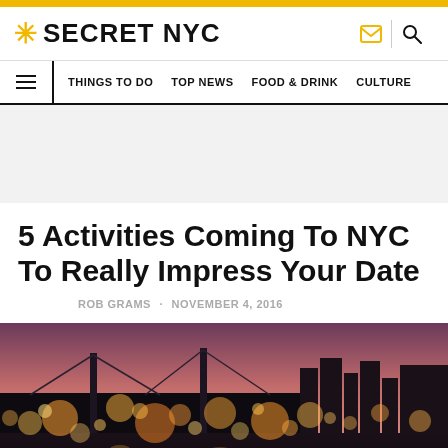SECRET NYC
THINGS TO DO · TOP NEWS · FOOD & DRINK · CULTURE
[Figure (other): Gray advertisement/banner placeholder area]
5 Activities Coming To NYC To Really Impress Your Date
ROB GRAMS · NOVEMBER 4, 2016
[Figure (photo): NYC Brooklyn Bridge at night/dusk with bokeh lights and pink/purple sky and city skyline]